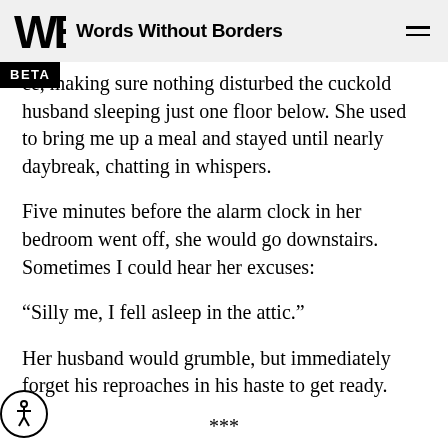Words Without Borders
ce, making sure nothing disturbed the cuckold husband sleeping just one floor below. She used to bring me up a meal and stayed until nearly daybreak, chatting in whispers.
Five minutes before the alarm clock in her bedroom went off, she would go downstairs. Sometimes I could hear her excuses:
“Silly me, I fell asleep in the attic.”
Her husband would grumble, but immediately forget his reproaches in his haste to get ready.
***